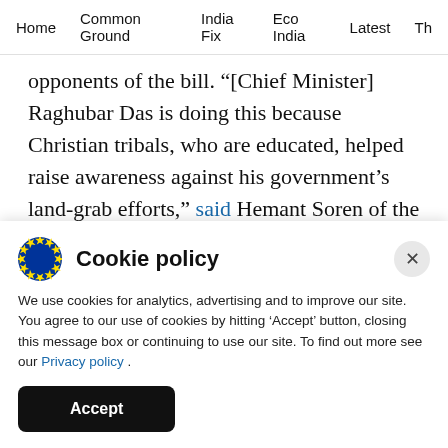Home   Common Ground   India Fix   Eco India   Latest   Th
opponents of the bill. “[Chief Minister] Raghubar Das is doing this because Christian tribals, who are educated, helped raise awareness against his government’s land-grab efforts,” said Hemant Soren of the Jharkhand Mukti Morcha.
ADVERTISEMENT
Cookie policy
We use cookies for analytics, advertising and to improve our site. You agree to our use of cookies by hitting ‘Accept’ button, closing this message box or continuing to use our site. To find out more see our Privacy policy .
Accept